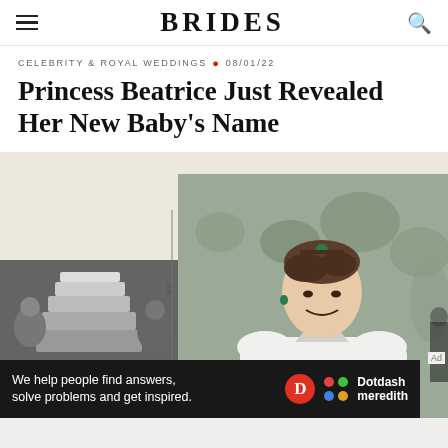BRIDES
CELEBRITY & ROYAL WEDDINGS • 08/01/22
Princess Beatrice Just Revealed Her New Baby's Name
[Figure (photo): Main image showing a woman in a white wedding gown with a green tiara, smiling, with a crowd in the background. A smaller black-and-white photo shows a couple near a wedding cake.]
We help people find answers, solve problems and get inspired.
[Figure (logo): Dotdash meredith logo with red D circle and colorful dots icon]